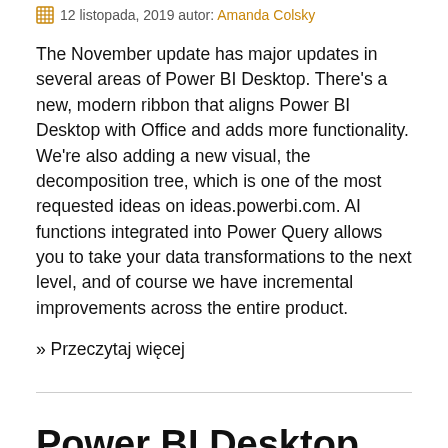12 listopada, 2019 autor: Amanda Colsky
The November update has major updates in several areas of Power BI Desktop. There’s a new, modern ribbon that aligns Power BI Desktop with Office and adds more functionality. We’re also adding a new visual, the decomposition tree, which is one of the most requested ideas on ideas.powerbi.com. AI functions integrated into Power Query allows you to take your data transformations to the next level, and of course we have incremental improvements across the entire product.
» Przeczytaj więcej
Power BI Desktop April 2019